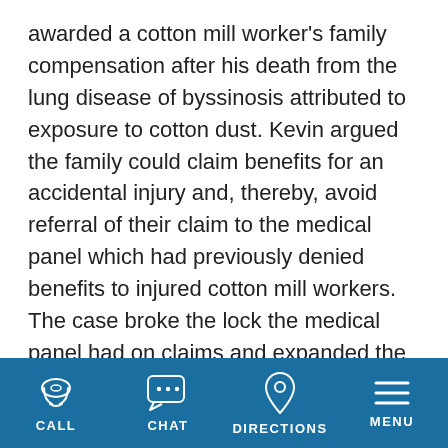awarded a cotton mill worker's family compensation after his death from the lung disease of byssinosis attributed to exposure to cotton dust. Kevin argued the family could claim benefits for an accidental injury and, thereby, avoid referral of their claim to the medical panel which had previously denied benefits to injured cotton mill workers. The case broke the lock the medical panel had on claims and expanded the rights of all workers to receive benefits.
CALL | CHAT | DIRECTIONS | MENU